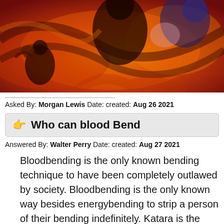[Figure (illustration): Fantasy/anime artwork depicting figures in swirling orange, red, and yellow fiery background with dark silhouettes and dramatic colors.]
Asked By: Morgan Lewis Date: created: Aug 26 2021
Who can blood Bend
Answered By: Walter Perry Date: created: Aug 27 2021
Bloodbending is the only known bending technique to have been completely outlawed by society. Bloodbending is the only known way besides energybending to strip a person of their bending indefinitely. Katara is the only known waterbender capable of bloodbending to still be alive at the end of The Legend of Korra.